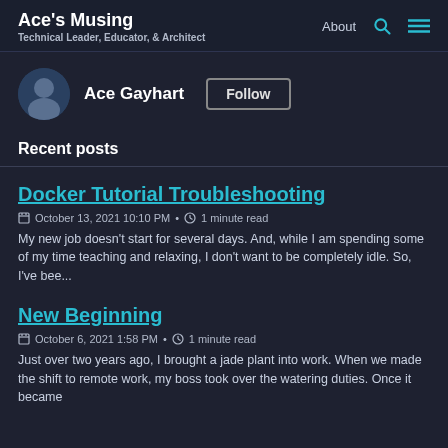Ace's Musing | Technical Leader, Educator, & Architect | About
Ace Gayhart
Recent posts
Docker Tutorial Troubleshooting
October 13, 2021 10:10 PM • 1 minute read
My new job doesn't start for several days. And, while I am spending some of my time teaching and relaxing, I don't want to be completely idle. So, I've bee...
New Beginning
October 6, 2021 1:58 PM • 1 minute read
Just over two years ago, I brought a jade plant into work. When we made the shift to remote work, my boss took over the watering duties. Once it became